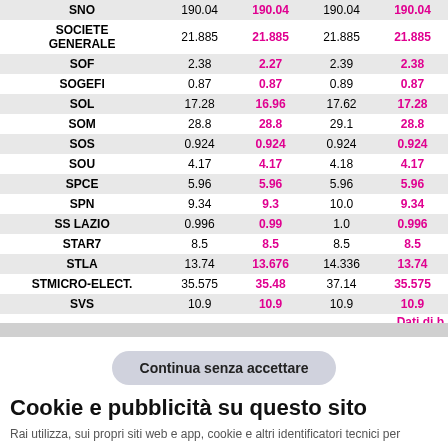|  | Col1 | Col2 | Col3 | Col4 |
| --- | --- | --- | --- | --- |
| SNO | 190.04 | 190.04 | 190.04 | 190.04 |
| SOCIETE GENERALE | 21.885 | 21.885 | 21.885 | 21.885 |
| SOF | 2.38 | 2.27 | 2.39 | 2.38 |
| SOGEFI | 0.87 | 0.87 | 0.89 | 0.87 |
| SOL | 17.28 | 16.96 | 17.62 | 17.28 |
| SOM | 28.8 | 28.8 | 29.1 | 28.8 |
| SOS | 0.924 | 0.924 | 0.924 | 0.924 |
| SOU | 4.17 | 4.17 | 4.18 | 4.17 |
| SPCE | 5.96 | 5.96 | 5.96 | 5.96 |
| SPN | 9.34 | 9.3 | 10.0 | 9.34 |
| SS LAZIO | 0.996 | 0.99 | 1.0 | 0.996 |
| STAR7 | 8.5 | 8.5 | 8.5 | 8.5 |
| STLA | 13.74 | 13.676 | 14.336 | 13.74 |
| STMICRO-ELECT. | 35.575 | 35.48 | 37.14 | 35.575 |
| SVS | 10.9 | 10.9 | 10.9 | 10.9 |
Dati di b
Continua senza accettare
Cookie e pubblicità su questo sito
Rai utilizza, sui propri siti web e app, cookie e altri identificatori tecnici per garantire la fruizione dei contenuti digitali Rai e facilitare la navigazione e, previo consenso dell'utente, cookie e strumenti